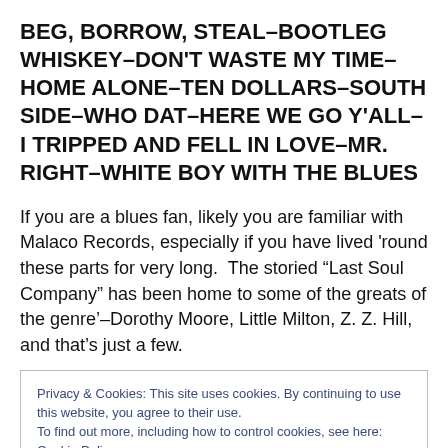BEG, BORROW, STEAL–BOOTLEG WHISKEY–DON'T WASTE MY TIME–HOME ALONE–TEN DOLLARS–SOUTH SIDE–WHO DAT–HERE WE GO Y'ALL–I TRIPPED AND FELL IN LOVE–MR. RIGHT–WHITE BOY WITH THE BLUES
If you are a blues fan, likely you are familiar with Malaco Records, especially if you have lived 'round these parts for very long.  The storied “Last Soul Company” has been home to some of the greats of the genre’–Dorothy Moore, Little Milton, Z. Z. Hill, and that’s just a few.
Privacy & Cookies: This site uses cookies. By continuing to use this website, you agree to their use.
To find out more, including how to control cookies, see here: Cookie Policy
in Memphis in 2010, and now finds himself a part of that